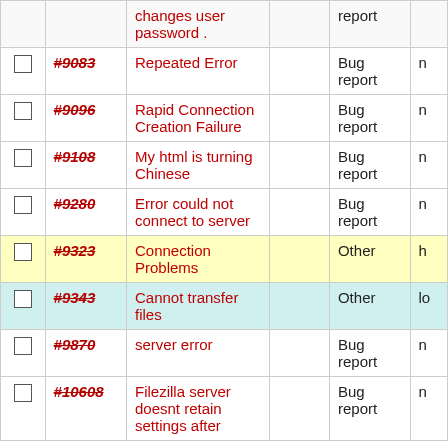|  | ID | Title |  | Type |  |
| --- | --- | --- | --- | --- | --- |
| ☐ | #9083 | Repeated Error |  | Bug report | n |
| ☐ | #9096 | Rapid Connection Creation Failure |  | Bug report | n |
| ☐ | #9108 | My html is turning Chinese |  | Bug report | n |
| ☐ | #9280 | Error could not connect to server |  | Bug report | n |
| ☐ | #9323 | Connection Problems |  | Other | h |
| ☐ | #9343 | Cannot transfer files |  | Other | lo |
| ☐ | #9870 | server error |  | Bug report | n |
| ☐ | #10608 | Filezilla server doesnt retain settings after |  | Bug report | n |